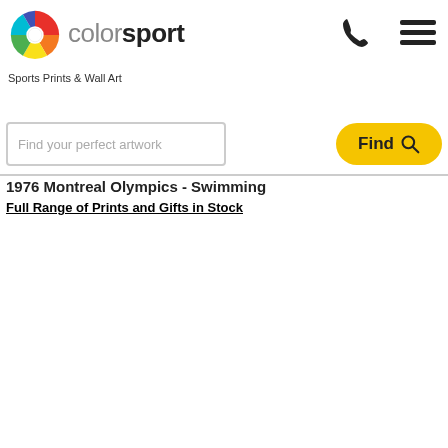[Figure (logo): Colorsport logo with colorful pinwheel icon and text 'colorsport']
Sports Prints & Wall Art
[Figure (other): Phone icon]
[Figure (other): Hamburger menu icon]
Find your perfect artwork
Find
1976 Montreal Olympics - Swimming
Full Range of Prints and Gifts in Stock